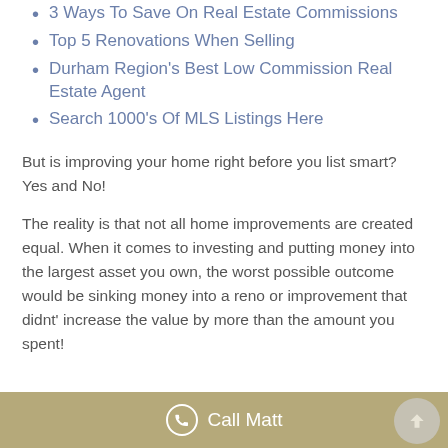3 Ways To Save On Real Estate Commissions
Top 5 Renovations When Selling
Durham Region's Best Low Commission Real Estate Agent
Search 1000's Of MLS Listings Here
But is improving your home right before you list smart? Yes and No!
The reality is that not all home improvements are created equal. When it comes to investing and putting money into the largest asset you own, the worst possible outcome would be sinking money into a reno or improvement that didnt' increase the value by more than the amount you spent!
Call Matt